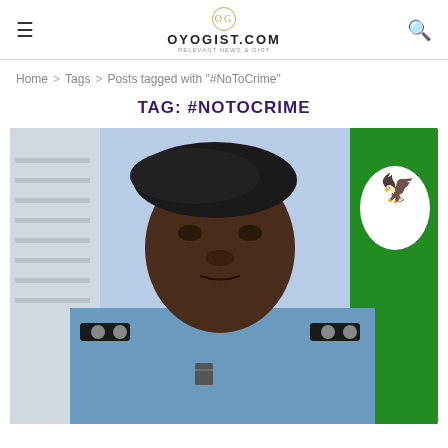OYOGIST.COM
Home > Tags > Posts tagged with "#NoToCrime"
TAG: #NOTOCRIME
[Figure (photo): A Nigerian police officer in blue uniform with black beret and epaulettes, with a Nigeria Police flag visible on the right side of the image.]